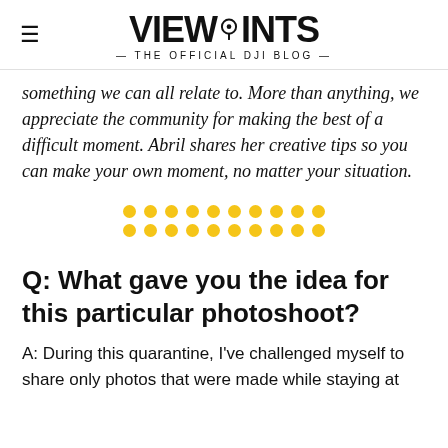VIEWPOINTS — THE OFFICIAL DJI BLOG —
something we can all relate to. More than anything, we appreciate the community for making the best of a difficult moment. Abril shares her creative tips so you can make your own moment, no matter your situation.
[Figure (other): Two rows of ten golden/yellow dots used as a decorative divider element]
Q: What gave you the idea for this particular photoshoot?
A: During this quarantine, I've challenged myself to share only photos that were made while staying at